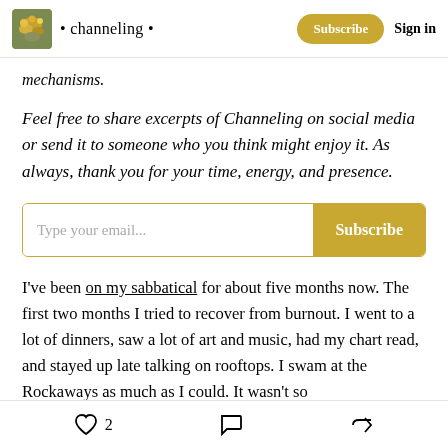• channeling •  Subscribe  Sign in
mechanisms.
Feel free to share excerpts of Channeling on social media or send it to someone who you think might enjoy it. As always, thank you for your time, energy, and presence.
Type your email...  Subscribe
I've been on my sabbatical for about five months now. The first two months I tried to recover from burnout. I went to a lot of dinners, saw a lot of art and music, had my chart read, and stayed up late talking on rooftops. I swam at the Rockaways as much as I could. It wasn't so
♡ 2  💬  ↪